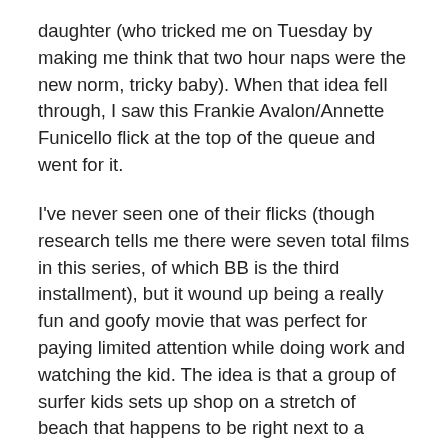daughter (who tricked me on Tuesday by making me think that two hour naps were the new norm, tricky baby). When that idea fell through, I saw this Frankie Avalon/Annette Funicello flick at the top of the queue and went for it.
I've never seen one of their flicks (though research tells me there were seven total films in this series, of which BB is the third installment), but it wound up being a really fun and goofy movie that was perfect for paying limited attention while doing work and watching the kid. The idea is that a group of surfer kids sets up shop on a stretch of beach that happens to be right next to a famous Beatles-esque pop star called The Potato Bug AND near the property of a stodgy old guy who owns a nearby retirement home. This causes two sets of problems as Bug woos Annette away from Frankie AND the old guy tries to get rid of the kids by writing editorials in the newspaper he owns about how animalistic they are. How does he prove this? Well, he's trained his ape to do all the things the kids do: